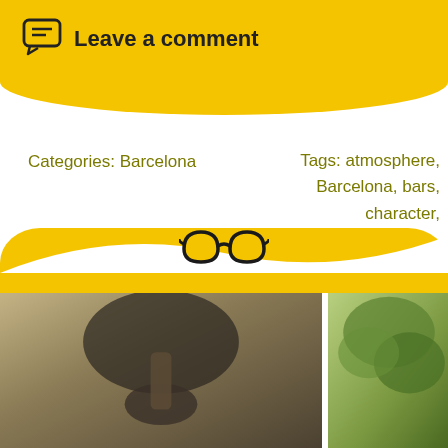Leave a comment
Categories: Barcelona
Tags: atmosphere, Barcelona, bars, character, decor, energy, europe, gothic, las ramblas, late night, live music, local, music, old town, quirky, soul, unique
[Figure (illustration): Glasses icon on yellow background footer area]
[Figure (photo): Street scene photos from Barcelona]